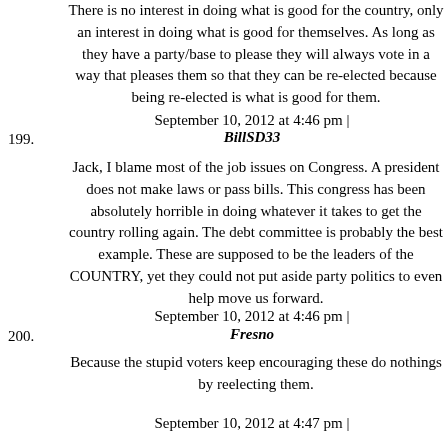There is no interest in doing what is good for the country, only an interest in doing what is good for themselves. As long as they have a party/base to please they will always vote in a way that pleases them so that they can be re-elected because being re-elected is what is good for them.
September 10, 2012 at 4:46 pm |
199. BillSD33
Jack, I blame most of the job issues on Congress. A president does not make laws or pass bills. This congress has been absolutely horrible in doing whatever it takes to get the country rolling again. The debt committee is probably the best example. These are supposed to be the leaders of the COUNTRY, yet they could not put aside party politics to even help move us forward.
September 10, 2012 at 4:46 pm |
200. Fresno
Because the stupid voters keep encouraging these do nothings by reelecting them.
September 10, 2012 at 4:47 pm |